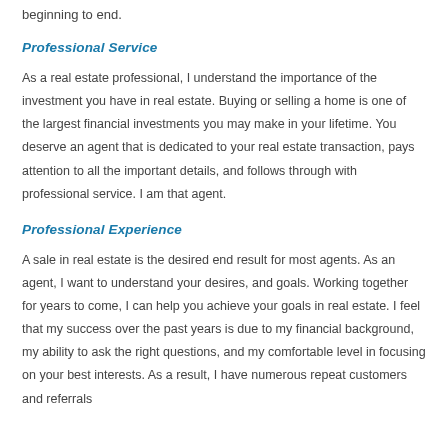beginning to end.
Professional Service
As a real estate professional, I understand the importance of the investment you have in real estate. Buying or selling a home is one of the largest financial investments you may make in your lifetime. You deserve an agent that is dedicated to your real estate transaction, pays attention to all the important details, and follows through with professional service. I am that agent.
Professional Experience
A sale in real estate is the desired end result for most agents. As an agent, I want to understand your desires, and goals. Working together for years to come, I can help you achieve your goals in real estate. I feel that my success over the past years is due to my financial background, my ability to ask the right questions, and my comfortable level in focusing on your best interests. As a result, I have numerous repeat customers and referrals